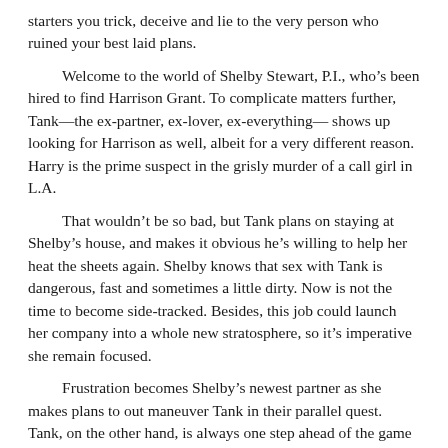starters you trick, deceive and lie to the very person who ruined your best laid plans.
Welcome to the world of Shelby Stewart, P.I., who’s been hired to find Harrison Grant. To complicate matters further, Tank—the ex-partner, ex-lover, ex-everything— shows up looking for Harrison as well, albeit for a very different reason. Harry is the prime suspect in the grisly murder of a call girl in L.A.
That wouldn’t be so bad, but Tank plans on staying at Shelby’s house, and makes it obvious he’s willing to help her heat the sheets again. Shelby knows that sex with Tank is dangerous, fast and sometimes a little dirty. Now is not the time to become side-tracked. Besides, this job could launch her company into a whole new stratosphere, so it’s imperative she remain focused.
Frustration becomes Shelby’s newest partner as she makes plans to out maneuver Tank in their parallel quest. Tank, on the other hand, is always one step ahead of the game – and isn’t what or whom Shelby thought.
Shelby doesn’t want to be hurt by Tank again. A year ago he walked out on her for another woman. Tank loves Shelby so much he’s allowed her to hate him. This was the only way to keep her alive, and for Tank, that was more than enough. Tank…